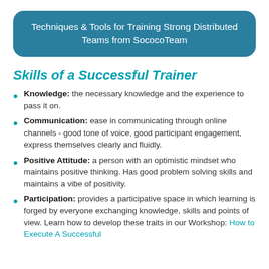Techniques & Tools for Training Strong Distributed Teams from SococoTeam
Skills of a Successful Trainer
Knowledge: the necessary knowledge and the experience to pass it on.
Communication: ease in communicating through online channels - good tone of voice, good participant engagement, express themselves clearly and fluidly.
Positive Attitude: a person with an optimistic mindset who maintains positive thinking. Has good problem solving skills and maintains a vibe of positivity.
Participation: provides a participative space in which learning is forged by everyone exchanging knowledge, skills and points of view. Learn how to develop these traits in our Workshop: How to Execute A Successful